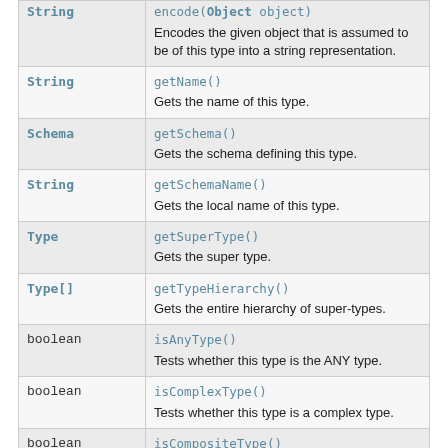| Type | Method |
| --- | --- |
| String | encode(Object object)
Encodes the given object that is assumed to be of this type into a string representation. |
| String | getName()
Gets the name of this type. |
| Schema | getSchema()
Gets the schema defining this type. |
| String | getSchemaName()
Gets the local name of this type. |
| Type | getSuperType()
Gets the super type. |
| Type[] | getTypeHierarchy()
Gets the entire hierarchy of super-types. |
| boolean | isAnyType()
Tests whether this type is the ANY type. |
| boolean | isComplexType()
Tests whether this type is a complex type. |
| boolean | isCompositeType()
Tests whether this is a composite type. |
| boolean | isListType()
Tests whether this type is a list type. |
| boolean | isSimpleType()
Tests whether this type is a simple type. |
| boolean | isSuperTypeOf(Type type) |